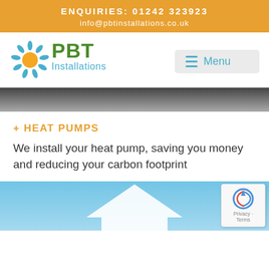ENQUIRIES: 01242 323923
info@pbtinstallations.co.uk
[Figure (logo): PBT Installations logo with sunburst icon, green PBT text, and teal Installations text]
[Figure (screenshot): Navigation menu button with hamburger icon and Menu label on grey background]
[Figure (photo): Dark greyscale photo strip at top of content area]
+ HEAT PUMPS
We install your heat pump, saving you money and reducing your carbon footprint
[Figure (photo): Blue sky background with white house roof outline visible, reCAPTCHA Privacy Terms badge in lower right corner]